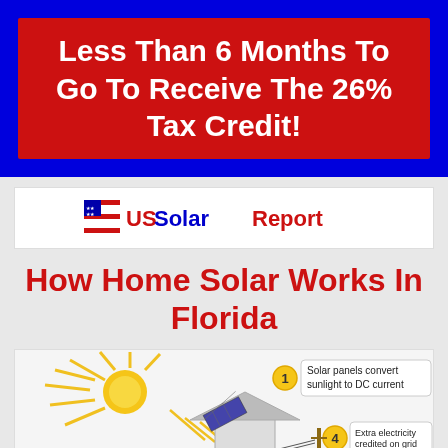Less Than 6 Months To Go To Receive The 26% Tax Credit!
[Figure (logo): US Solar Report logo with American flag icon]
How Home Solar Works In Florida
[Figure (infographic): Solar home diagram showing: 1. Solar panels convert sunlight to DC current; 4. Extra electricity credited on grid]